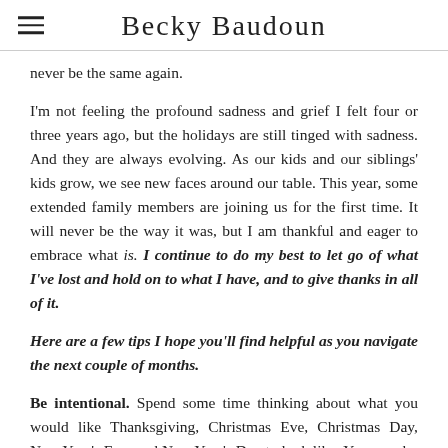Becky Baudoun
never be the same again.
I'm not feeling the profound sadness and grief I felt four or three years ago, but the holidays are still tinged with sadness. And they are always evolving. As our kids and our siblings' kids grow, we see new faces around our table. This year, some extended family members are joining us for the first time. It will never be the way it was, but I am thankful and eager to embrace what is. I continue to do my best to let go of what I've lost and hold on to what I have, and to give thanks in all of it.
Here are a few tips I hope you'll find helpful as you navigate the next couple of months.
Be intentional. Spend some time thinking about what you would like Thanksgiving, Christmas Eve, Christmas Day, New Year's Eve, and New Year's Day to look like. You may be